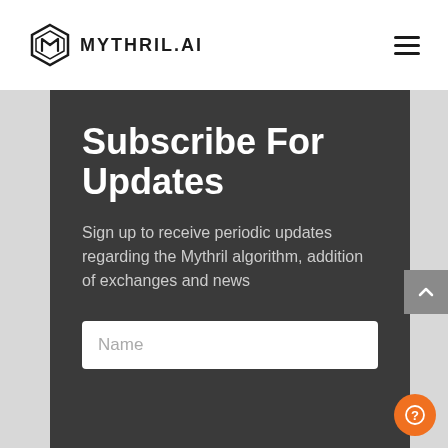MYTHRIL.AI
Subscribe For Updates
Sign up to receive periodic updates regarding the Mythril algorithm, addition of exchanges and news
Name